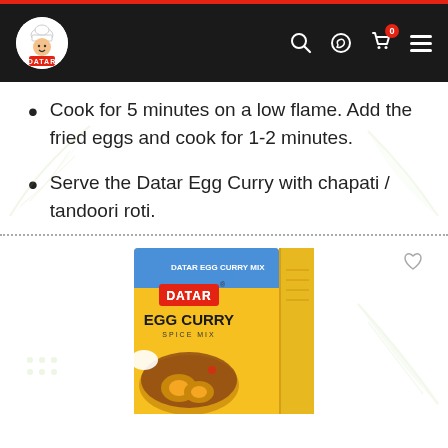DATAR (navigation bar with logo, search, whatsapp, cart, menu icons)
Cook for 5 minutes on a low flame. Add the fried eggs and cook for 1-2 minutes.
Serve the Datar Egg Curry with chapati / tandoori roti.
[Figure (photo): Datar Egg Curry Spice Mix product box showing a yellow and blue box with the Datar logo and an image of egg curry dish with rice.]